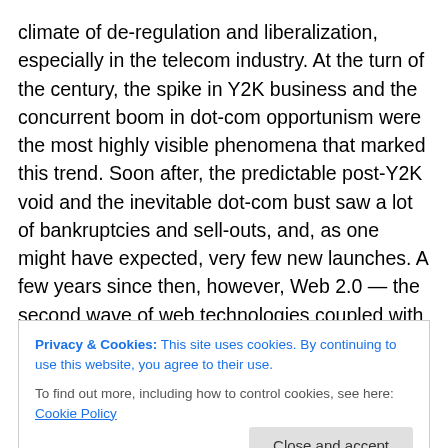climate of de-regulation and liberalization, especially in the telecom industry. At the turn of the century, the spike in Y2K business and the concurrent boom in dot-com opportunism were the most highly visible phenomena that marked this trend. Soon after, the predictable post-Y2K void and the inevitable dot-com bust saw a lot of bankruptcies and sell-outs, and, as one might have expected, very few new launches. A few years since then, however, Web 2.0 — the second wave of web technologies coupled with mobile computing and other trends that have collectively been dubbed 'social media'
Privacy & Cookies: This site uses cookies. By continuing to use this website, you agree to their use. To find out more, including how to control cookies, see here: Cookie Policy
Close and accept
start-ups emulate. Simultaneously, in the post-Y2K world